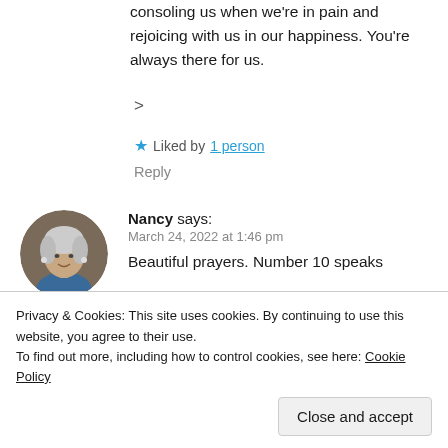consoling us when we're in pain and rejoicing with us in our happiness. You're always there for us.
>
★ Liked by 1 person
Reply
Nancy says: March 24, 2022 at 1:46 pm
Beautiful prayers. Number 10 speaks
Privacy & Cookies: This site uses cookies. By continuing to use this website, you agree to their use.
To find out more, including how to control cookies, see here: Cookie Policy
Close and accept